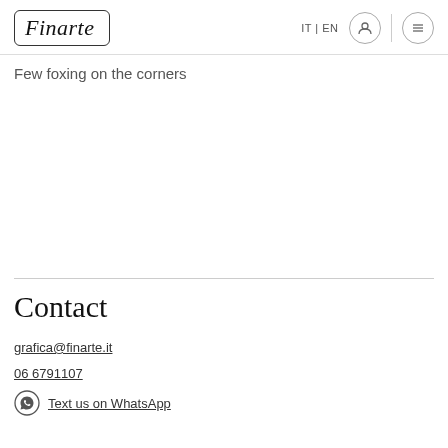Finarte — IT | EN — [user icon] [menu icon]
Few foxing on the corners
Contact
grafica@finarte.it
06 6791107
Text us on WhatsApp